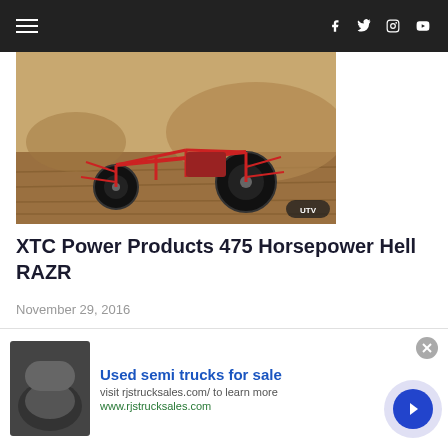Navigation bar with hamburger menu and social icons (Facebook, Twitter, Instagram, YouTube)
[Figure (photo): Off-road buggy/UTV racing vehicle on dirt track with sandy terrain, UTV badge in bottom right corner]
XTC Power Products 475 Horsepower Hell RAZR
November 29, 2016
[Figure (photo): Off-road truck kicking up dust/sand with blue sky background]
infolinks
Used semi trucks for sale
visit rjstrucksales.com/ to learn more
www.rjstrucksales.com